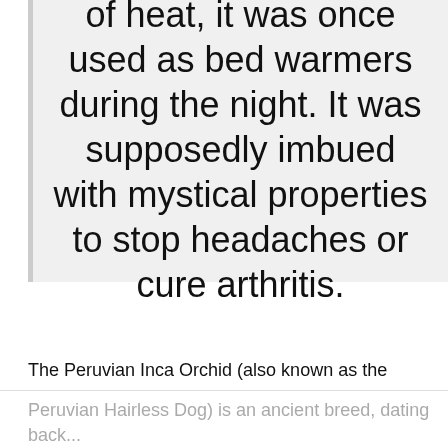of heat, it was once used as bed warmers during the night. It was supposedly imbued with mystical properties to stop headaches or cure arthritis.
The Peruvian Inca Orchid (also known as the
Peruvian Hairless Dog) is an ancient breed, dating back...